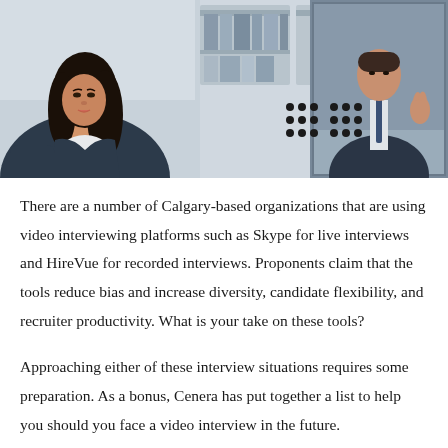[Figure (photo): A woman in a dark blazer sitting and looking at a monitor showing a man in a suit during a video interview. Office background with shelving.]
There are a number of Calgary-based organizations that are using video interviewing platforms such as Skype for live interviews and HireVue for recorded interviews. Proponents claim that the tools reduce bias and increase diversity, candidate flexibility, and recruiter productivity. What is your take on these tools?
Approaching either of these interview situations requires some preparation. As a bonus, Cenera has put together a list to help you should you face a video interview in the future.